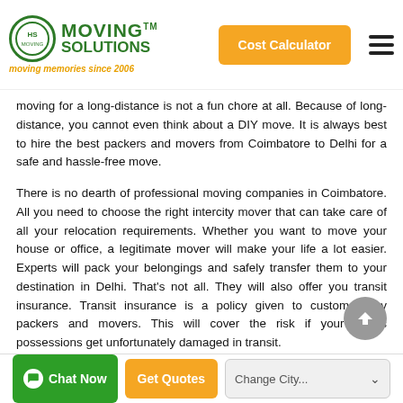Moving Solutions — moving memories since 2006 | Cost Calculator
moving for a long-distance is not a fun chore at all. Because of long-distance, you cannot even think about a DIY move. It is always best to hire the best packers and movers from Coimbatore to Delhi for a safe and hassle-free move.
There is no dearth of professional moving companies in Coimbatore. All you need to choose the right intercity mover that can take care of all your relocation requirements. Whether you want to move your house or office, a legitimate mover will make your life a lot easier. Experts will pack your belongings and safely transfer them to your destination in Delhi. That's not all. They will also offer you transit insurance. Transit insurance is a policy given to customers by packers and movers. This will cover the risk if your goods possessions get unfortunately damaged in transit.
Professional packers and movers from Coimbatore to Delhi will offer you services for different relocation requirements. You can consider hiring the right mover for all the relocation choices.
Chat Now | Get Quotes | Change City...